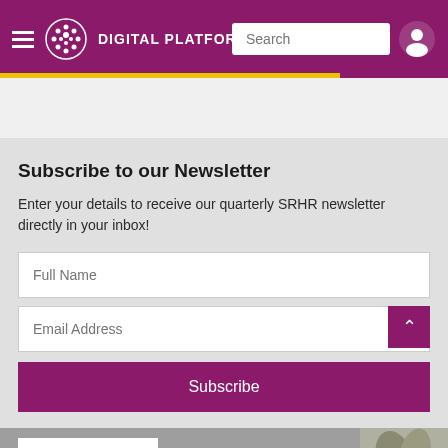DIGITAL PLATFORM
Subscribe to our Newsletter
Enter your details to receive our quarterly SRHR newsletter directly in your inbox!
[Figure (screenshot): Newsletter subscription form with Full Name and Email Address input fields and a Subscribe button]
[Figure (photo): Bottom image showing 'Healthy Entrepreneurs' and 'Share-Net' banners with a plant in background]